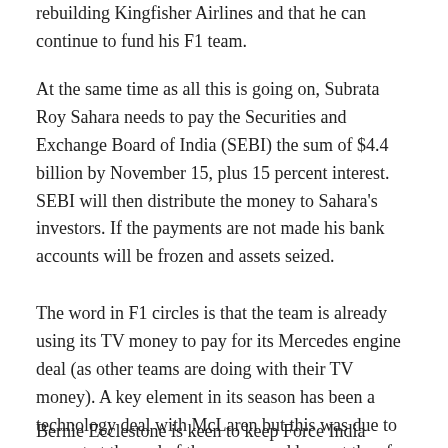rebuilding Kingfisher Airlines and that he can continue to fund his F1 team.
At the same time as all this is going on, Subrata Roy Sahara needs to pay the Securities and Exchange Board of India (SEBI) the sum of $4.4 billion by November 15, plus 15 percent interest. SEBI will then distribute the money to Sahara's investors. If the payments are not made his bank accounts will be frozen and assets seized.
The word in F1 circles is that the team is already using its TV money to pay for its Mercedes engine deal (as other teams are doing with their TV money). A key element in its season has been a technology deal with McLaren but this was due to run out at the end of the season and has not thus far been renewed.
Bernie Ecclestone is keen to keep Force India strong